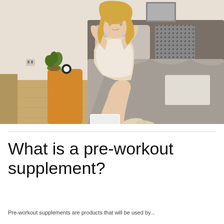[Figure (photo): A young blonde woman in a beige tank top sitting on the edge of a bed with grey bedding, stretching her arms behind her head, with one foot touching a white bathroom scale on a hardwood floor. There is a small orange side table with a plant and alarm clock nearby. The room has beige walls and a framed picture on the wall in the background.]
What is a pre-workout supplement?
Pre-workout supplements are products that will be used by...